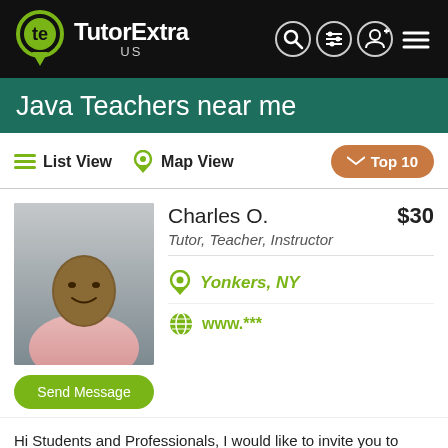TutorExtra US
Java Teachers near me
List View   Map View   Top 10
[Figure (photo): Profile photo of Charles O., a male tutor wearing a pink shirt, smiling, photographed indoors]
Charles O.  $30
Tutor, Teacher, Instructor
Yonkers, NY
www.***
Send Message
Hi Students and Professionals, I would like to invite you to work with me because I am a highly qualified instructor, teacher and...
Subjects: Physics, Chemistry, Biology, Calculus, Java